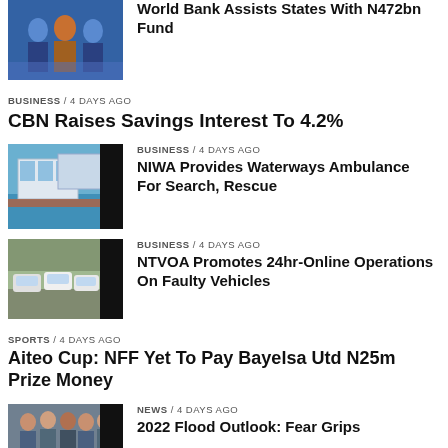[Figure (photo): Three people standing in front of a decorative background, formal setting]
World Bank Assists States With N472bn Fund
BUSINESS / 4 days ago
CBN Raises Savings Interest To 4.2%
[Figure (photo): Aerial view of a waterway/marina with buildings and docks]
BUSINESS / 4 days ago
NIWA Provides Waterways Ambulance For Search, Rescue
[Figure (photo): Parking lot with vehicles lined up outdoors]
BUSINESS / 4 days ago
NTVOA Promotes 24hr-Online Operations On Faulty Vehicles
SPORTS / 4 days ago
Aiteo Cup: NFF Yet To Pay Bayelsa Utd N25m Prize Money
[Figure (photo): Group of people standing together outdoors]
NEWS / 4 days ago
2022 Flood Outlook: Fear Grips